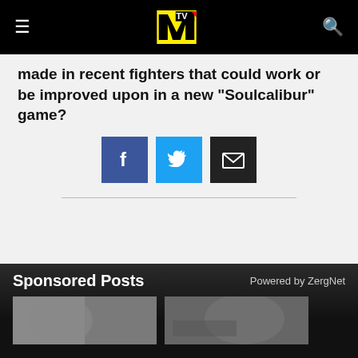MTV navigation bar with logo, hamburger menu, and search icon
made in recent fighters that could work or be improved upon in a new "Soulcalibur" game?
[Figure (infographic): Three social share buttons: Facebook (blue square with f icon), Twitter (light blue square with bird icon), Email (dark square with envelope icon)]
Sponsored Posts   Powered by ZergNet